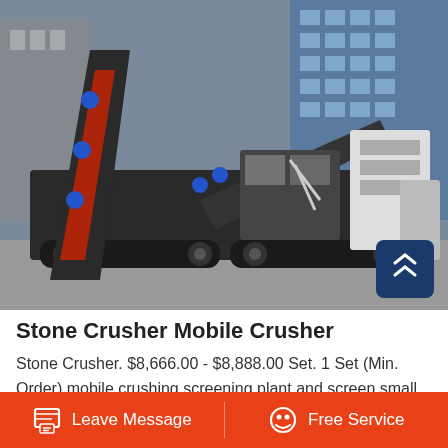[Figure (photo): Mobile stone crusher machine parked in an industrial yard with a building in the background. Large tracked vehicle with conveyor belts and crushing equipment in dark/black color with red and blue accents.]
Stone Crusher Mobile Crusher
Stone Crusher. $8,666.00 - $8,888.00 Set. 1 Set (Min. Order) mobile crushing screening plant and screen small screening mobile sand making crushing plant. Mobile Crushing. $8,888.00 - $8,999.00 Set. 1 Set (Min. Order) SBM High quality mobil crusher
Leave Message    Free Service